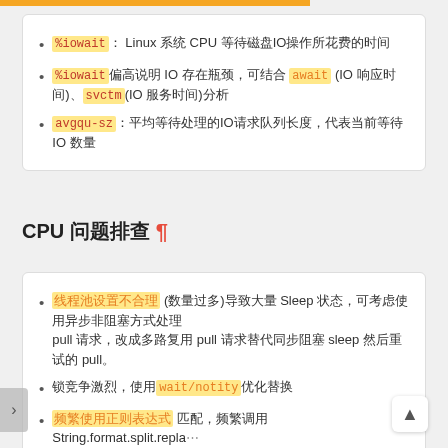%iowait: Linux系统 CPU 等待磁盘IO操作所花费的时间
%iowait偏高说明 IO 存在瓶颈,可结合 await (IO响应时间)、svctm(IO服务时间)分析
avgqu-sz:平均等待处理的IO请求队列长度,代表当前等待 IO 数量
CPU 问题排查 ¶
线程池设置不合理 (数量过多)导致大量 Sleep 状态,可考虑使用异步非阻塞方式处理pull 请求,改成多路复用 pull 请求替代同步阻塞 sleep 然后重试的 pull。
锁竞争激烈,使用wait/notity优化替换
频繁使用正则表达式 匹配,频繁调用String.format.split.replace 等; 考虑用数组偏移替换(正则表达式替换);编码/解码问题